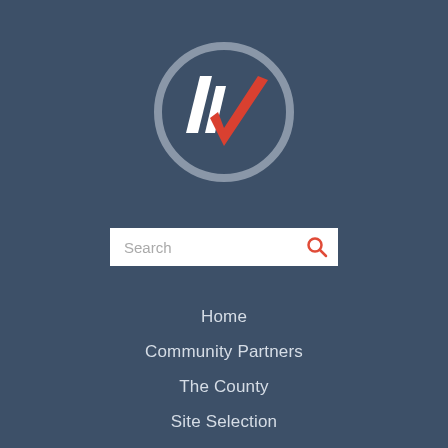[Figure (logo): Circular logo with a gray ring, white angular W shape and red checkmark inside]
Search
Home
Community Partners
The County
Site Selection
News
Contact